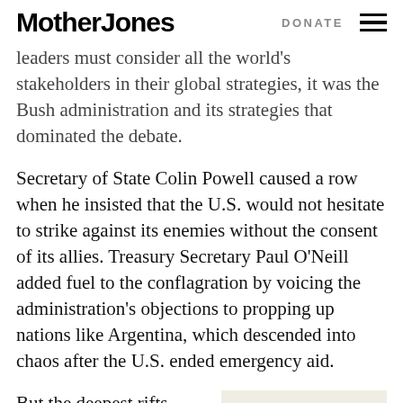Mother Jones | DONATE
leaders must consider all the world's stakeholders in their global strategies, it was the Bush administration and its strategies that dominated the debate.
Secretary of State Colin Powell caused a row when he insisted that the U.S. would not hesitate to strike against its enemies without the consent of its allies. Treasury Secretary Paul O’Neill added fuel to the conflagration by voicing the administration’s objections to propping up nations like Argentina, which descended into chaos after the U.S. ended emergency aid.
But the deepest rifts